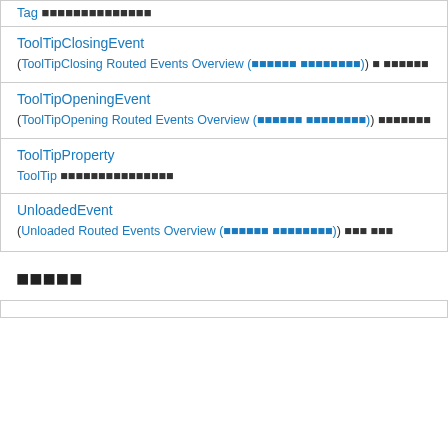| Tag ■■■■■■■■■■■■■■ |
| ToolTipClosingEvent
(ToolTipClosing Routed Events Overview (■■■■■■ ■■■■■■■■)) ■ ■■■■■■ |
| ToolTipOpeningEvent
(ToolTipOpening Routed Events Overview (■■■■■■ ■■■■■■■■)) ■■■■■■■ |
| ToolTipProperty
ToolTip ■■■■■■■■■■■■■■■ |
| UnloadedEvent
(Unloaded Routed Events Overview (■■■■■■ ■■■■■■■■)) ■■■ ■■■ |
■■■■■
|  |